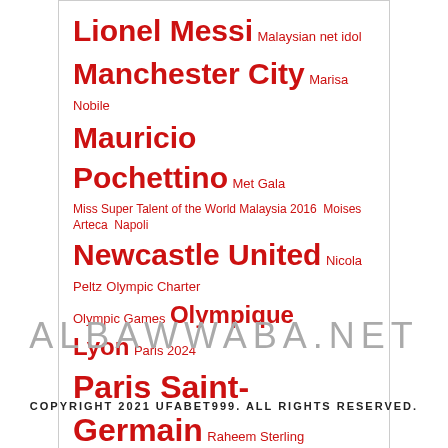[Figure (infographic): Tag cloud with various names and topics rendered in red, varying font sizes indicating relative frequency/importance. Tags include: Lionel Messi, Malaysian net idol, Manchester City, Marisa Nobile, Mauricio Pochettino, Met Gala, Miss Super Talent of the World Malaysia 2016, Moises Arteca, Napoli, Newcastle United, Nicola Peltz, Olympic Charter, Olympic Games, Olympique Lyon, Paris 2024, Paris Saint-Germain, Raheem Sterling, Rayo Vallecano, Rory, Saudi Public, Sevilla, Suchada Lowitz, The Championship club, the English Football League, Tokyo 2020, Turkish, UEFA, Van Ooft, Victoria Beckham]
ALBAWWABA.NET
COPYRIGHT 2021 UFABET999. ALL RIGHTS RESERVED.